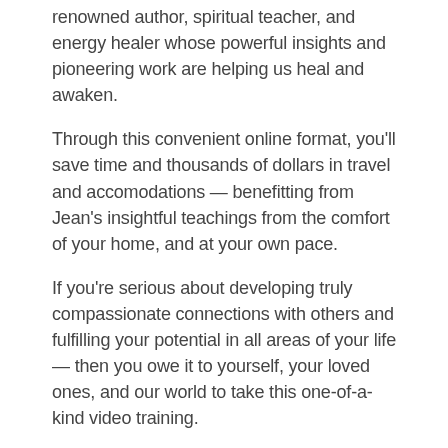renowned author, spiritual teacher, and energy healer whose powerful insights and pioneering work are helping us heal and awaken.
Through this convenient online format, you'll save time and thousands of dollars in travel and accomodations — benefitting from Jean's insightful teachings from the comfort of your home, and at your own pace.
If you're serious about developing truly compassionate connections with others and fulfilling your potential in all areas of your life — then you owe it to yourself, your loved ones, and our world to take this one-of-a-kind video training.
To take this next step in your journey… click the register button below to reserve your space now.